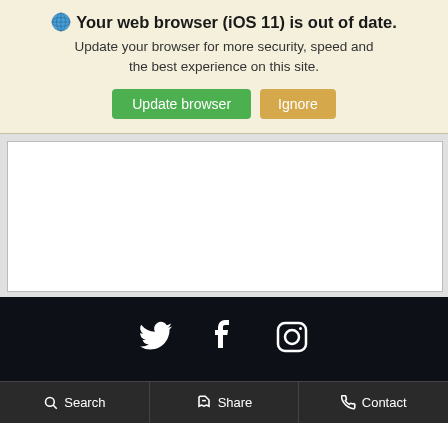🌐 Your web browser (iOS 11) is out of date. Update your browser for more security, speed and the best experience on this site.
[Figure (screenshot): Browser update banner with green 'Update browser' button and tan 'Ignore' button on a pale yellow background]
[Figure (screenshot): White content card area on light grey background]
[Figure (screenshot): Dark footer with Twitter, Facebook, and Instagram social media icons in white]
Search   Share   Contact